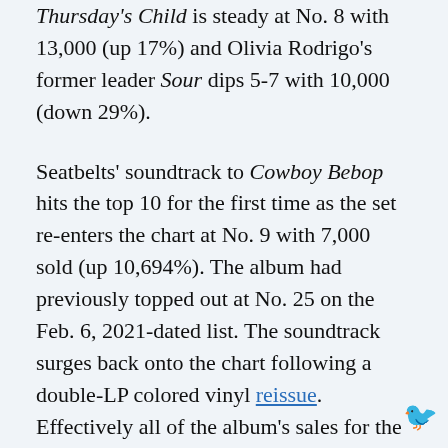Thursday's Child is steady at No. 8 with 13,000 (up 17%) and Olivia Rodrigo's former leader Sour dips 5-7 with 10,000 (down 29%).
Seatbelts' soundtrack to Cowboy Bebop hits the top 10 for the first time as the set re-enters the chart at No. 9 with 7,000 sold (up 10,694%). The album had previously topped out at No. 25 on the Feb. 6, 2021-dated list. The soundtrack surges back onto the chart following a double-LP colored vinyl reissue. Effectively all of the album's sales for the week were from vinyl formats, and the set re-enters the Vinyl Albums chart at new high of No. 3.
Closing out the top 10 on Top Album Sales is Post Malone's Twelve Carat Toothache, which falls 3-10 in its second week with nearly 7,000